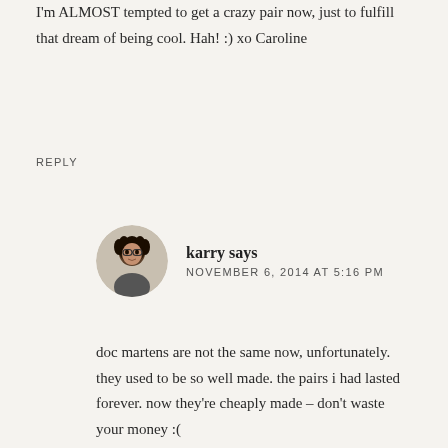I'm ALMOST tempted to get a crazy pair now, just to fulfill that dream of being cool. Hah! :) xo Caroline
REPLY
karry says
NOVEMBER 6, 2014 AT 5:16 PM
doc martens are not the same now, unfortunately. they used to be so well made. the pairs i had lasted forever. now they're cheaply made – don't waste your money :(
REPLY
Tarynkay says
NOVEMBER 7, 2014 AT 1:38